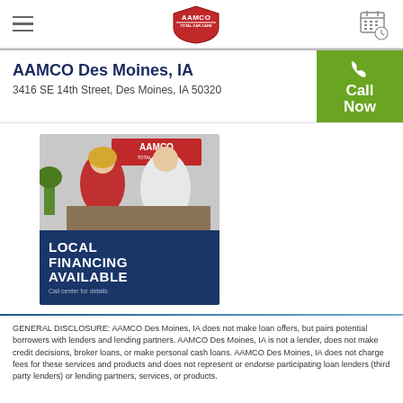AAMCO — Navigation bar with hamburger menu, AAMCO logo, and calendar icon
AAMCO Des Moines, IA
3416 SE 14th Street, Des Moines, IA 50320
[Figure (photo): AAMCO local financing available — photo of staff with customer above blue banner reading LOCAL FINANCING AVAILABLE, Call center for details]
GENERAL DISCLOSURE: AAMCO Des Moines, IA does not make loan offers, but pairs potential borrowers with lenders and lending partners. AAMCO Des Moines, IA is not a lender, does not make credit decisions, broker loans, or make personal cash loans. AAMCO Des Moines, IA does not charge fees for these services and products and does not represent or endorse participating loan lenders (third party lenders) or lending partners, services, or products.